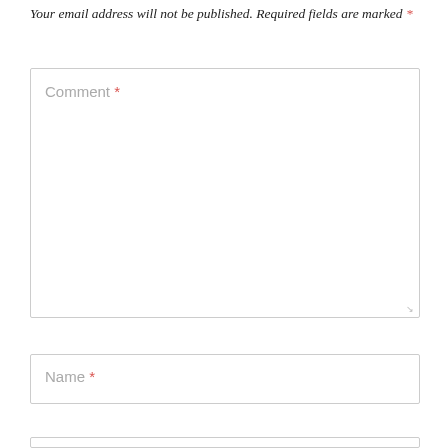Your email address will not be published. Required fields are marked *
[Figure (other): Comment text area input field with placeholder text 'Comment *']
[Figure (other): Name text input field with placeholder text 'Name *']
[Figure (other): Partially visible input field at bottom of page]